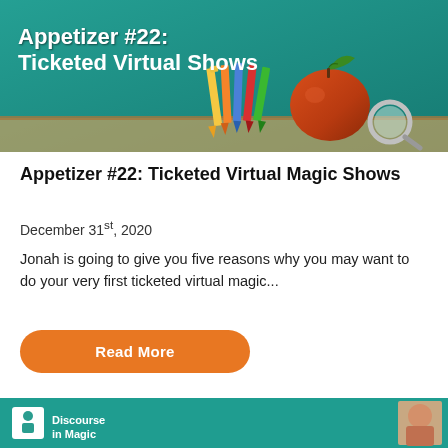[Figure (photo): Header banner with teal/green chalkboard background showing colored pencils and an apple on a desk. White bold text overlay reads 'Appetizer #22: Ticketed Virtual Shows']
Appetizer #22: Ticketed Virtual Magic Shows
December 31st, 2020
Jonah is going to give you five reasons why you may want to do your very first ticketed virtual magic...
Read More
[Figure (logo): Bottom teal banner with Discourse in Magic logo (white icon on white square) and text 'Discourse in Magic', plus a small portrait photo on the right side]